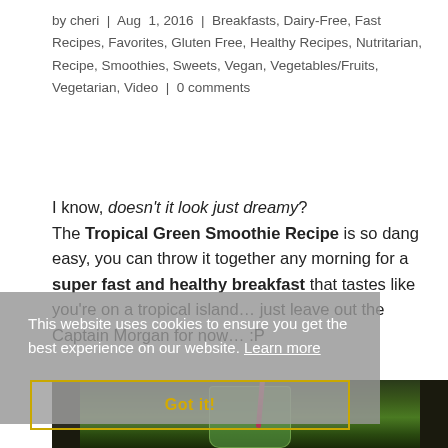by cheri | Aug 1, 2016 | Breakfasts, Dairy-Free, Fast Recipes, Favorites, Gluten Free, Healthy Recipes, Nutritarian, Recipe, Smoothies, Sweets, Vegan, Vegetables/Fruits, Vegetarian, Video | 0 comments
I know, doesn't it look just dreamy? The Tropical Green Smoothie Recipe is so dang easy, you can throw it together any morning for a super fast and healthy breakfast that tastes like you're on a tropical island... just leave out the Captain Morgan for now... :P
This website uses cookies to ensure you get the best experience on our website. Learn more
Got it!
[Figure (photo): A mason jar with green smoothie and a pink/red straw, photographed on a dark background]